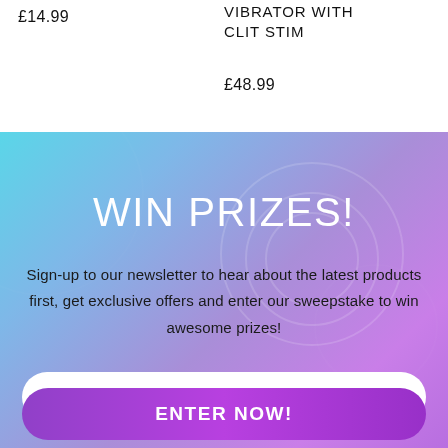£14.99
VIBRATOR WITH CLIT STIM
£48.99
WIN PRIZES!
Sign-up to our newsletter to hear about the latest products first, get exclusive offers and enter our sweepstake to win awesome prizes!
Your email
ENTER NOW!